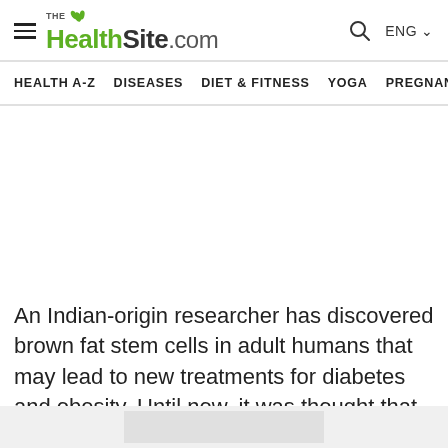TheHealthSite.com — HEALTH A-Z | DISEASES | DIET & FITNESS | YOGA | PREGNAN
An Indian-origin researcher has discovered brown fat stem cells in adult humans that may lead to new treatments for diabetes and obesity. Until now, it was thought that brown fat stem cells did not exist